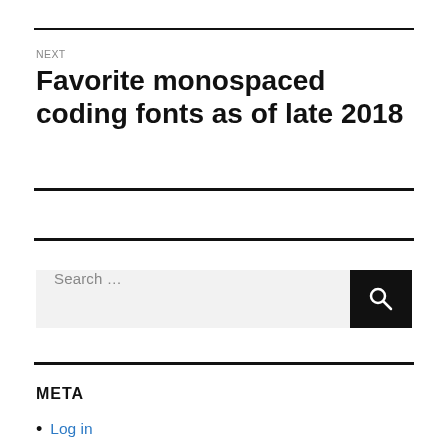NEXT
Favorite monospaced coding fonts as of late 2018
[Figure (other): Search bar with input field labeled 'Search ...' and a black search button with magnifying glass icon]
META
Log in